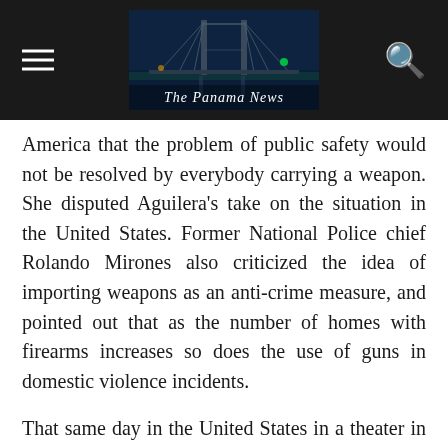The Panama News
America that the problem of public safety would not be resolved by everybody carrying a weapon. She disputed Aguilera's take on the situation in the United States. Former National Police chief Rolando Mirones also criticized the idea of importing weapons as an anti-crime measure, and pointed out that as the number of homes with firearms increases so does the use of guns in domestic violence incidents.
That same day in the United States in a theater in Nashville a man armed with a pellet gun, a can of pepper spray and a hatchet began attacking members of the movie audience. Three people were injured. A police SWAT team arrived and the man was shot 24 times and killed. Also that day on the Hawaiian island of Maui, a man being questioned about